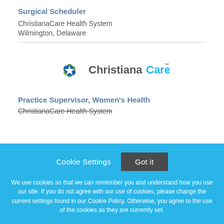Surgical Scheduler
ChristianaCare Health System
Wilmington, Delaware
[Figure (logo): ChristianaCare logo with flower/snowflake emblem and 'ChristianaCare' wordmark]
Practice Supervisor, Women's Health
ChristianaCare Health System
Cookie Settings  Got it
We use cookies so that we can remember you and understand how you use our site. If you do not agree with our use of cookies, please change the current settings found in our Cookie Policy. Otherwise, you agree to the use of the cookies as they are currently set.